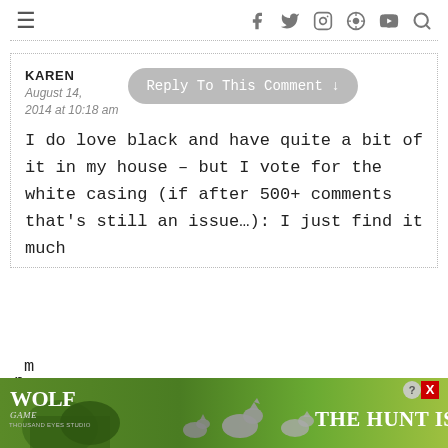≡  f  t  ○  ⊕  ▶  🔍
KAREN
August 14, 2014 at 10:18 am
Reply To This Comment ↓
I do love black and have quite a bit of it in my house – but I vote for the white casing (if after 500+ comments that's still an issue…): I just find it much
[Figure (screenshot): Wolf Game advertisement banner at the bottom: green background with wolves silhouette image, Wolf Game logo, and text 'THE HUNT IS ON !' with close button icons]